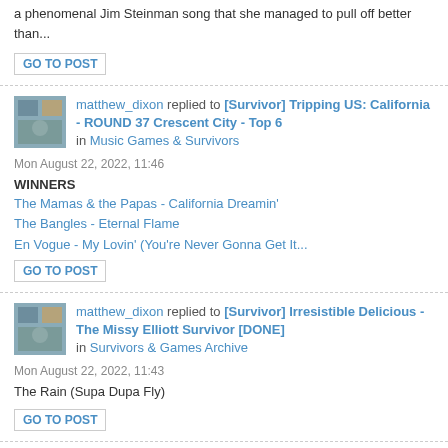a phenomenal Jim Steinman song that she managed to pull off better than...
GO TO POST
matthew_dixon replied to [Survivor] Tripping US: California - ROUND 37 Crescent City - Top 6 in Music Games & Survivors
Mon August 22, 2022, 11:46
WINNERS
The Mamas & the Papas - California Dreamin'
The Bangles - Eternal Flame
En Vogue - My Lovin' (You're Never Gonna Get It...
GO TO POST
matthew_dixon replied to [Survivor] Irresistible Delicious - The Missy Elliott Survivor [DONE] in Survivors & Games Archive
Mon August 22, 2022, 11:43
The Rain (Supa Dupa Fly)
GO TO POST
matthew_dixon replied to [Survivor] Celine Dion - Artist